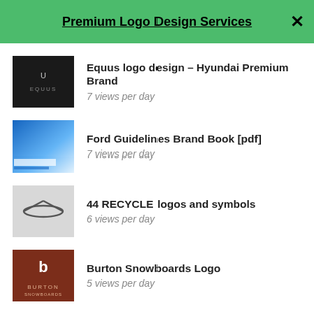Premium Logo Design Services
Equus logo design – Hyundai Premium Brand
7 views per day
Ford Guidelines Brand Book [pdf]
7 views per day
44 RECYCLE logos and symbols
6 views per day
Burton Snowboards Logo
5 views per day
All trademarks are property of their respectful owners and are mentioned here for educational purposes only.
Web design by Ralev.com. | © 2007-2019 Some Rights Reserved Logoblink.com